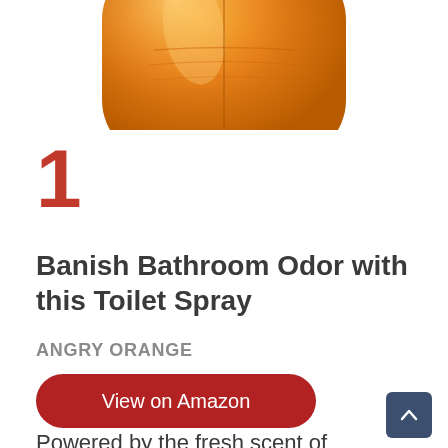[Figure (photo): Orange/amber colored toilet spray bottle with liquid visible inside, partially cropped at top of page]
1
Banish Bathroom Odor with this Toilet Spray
ANGRY ORANGE
View on Amazon
Powered by the fresh scent of